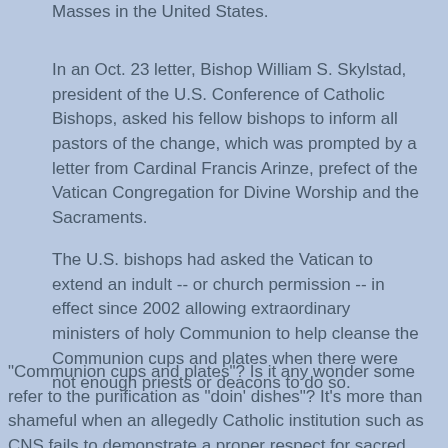Masses in the United States.
In an Oct. 23 letter, Bishop William S. Skylstad, president of the U.S. Conference of Catholic Bishops, asked his fellow bishops to inform all pastors of the change, which was prompted by a letter from Cardinal Francis Arinze, prefect of the Vatican Congregation for Divine Worship and the Sacraments.
The U.S. bishops had asked the Vatican to extend an indult -- or church permission -- in effect since 2002 allowing extraordinary ministers of holy Communion to help cleanse the Communion cups and plates when there were not enough priests or deacons to do so.
"Communion cups and plates"? Is it any wonder some refer to the purification as "doin' dishes"? It's more than shameful when an allegedly Catholic institution such as CNS fails to demonstrate a proper respect for sacred vessels which are used for the Body and Blood of our Lord.